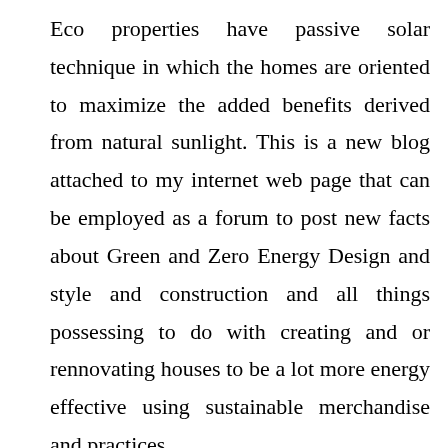Eco properties have passive solar technique in which the homes are oriented to maximize the added benefits derived from natural sunlight. This is a new blog attached to my internet web page that can be employed as a forum to post new facts about Green and Zero Energy Design and style and construction and all things possessing to do with creating and or rennovating houses to be a lot more energy effective using sustainable merchandise and practices.